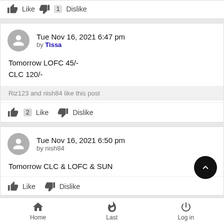Like  1  Dislike
Tue Nov 16, 2021 6:47 pm by Tissa
Tomorrow LOFC 45/-
CLC 120/-
Riz123 and nish84 like this post
2  Like  Dislike
Tue Nov 16, 2021 6:50 pm by nish84
Tomorrow CLC & LOFC & SUN
Like  Dislike
Home  Last  Log in